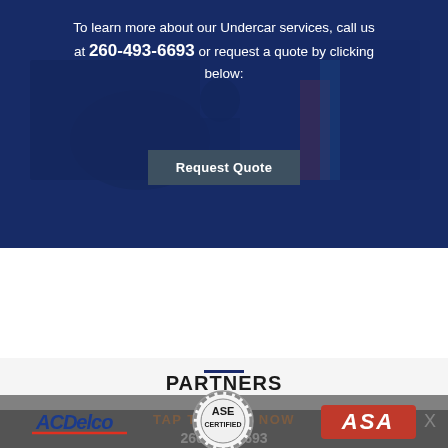[Figure (photo): Banner image of auto mechanics working, overlaid with dark blue tint]
To learn more about our Undercar services, call us at 260-493-6693 or request a quote by clicking below:
Request Quote
PARTNERS
TAP TO CALL NOW
260-493-6693
[Figure (logo): ACDelco logo]
[Figure (logo): ASE Certified logo]
[Figure (logo): ASA logo]